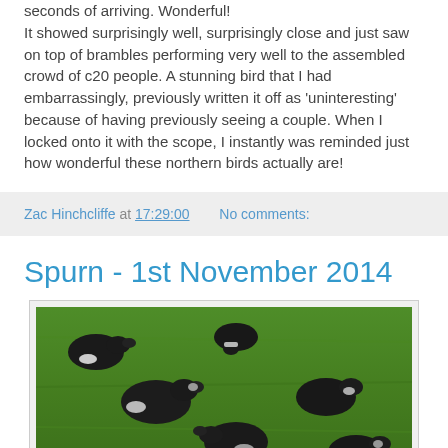seconds of arriving. Wonderful!
It showed surprisingly well, surprisingly close and just saw on top of brambles performing very well to the assembled crowd of c20 people. A stunning bird that I had embarrassingly, previously written it off as 'uninteresting' because of having previously seeing a couple. When I locked onto it with the scope, I instantly was reminded just how wonderful these northern birds actually are!
Zac Hinchcliffe at 17:29:00    No comments:
Spurn - 1st November 2014
[Figure (photo): Photo of dark birds (geese or ducks) on green grass]